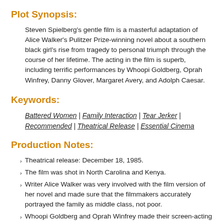Plot Synopsis:
Steven Spielberg's gentle film is a masterful adaptation of Alice Walker's Pulitzer Prize-winning novel about a southern black girl's rise from tragedy to personal triumph through the course of her lifetime. The acting in the film is superb, including terrific performances by Whoopi Goldberg, Oprah Winfrey, Danny Glover, Margaret Avery, and Adolph Caesar.
Keywords:
Battered Women | Family Interaction | Tear Jerker | Recommended | Theatrical Release | Essential Cinema
Production Notes:
Theatrical release: December 18, 1985.
The film was shot in North Carolina and Kenya.
Writer Alice Walker was very involved with the film version of her novel and made sure that the filmmakers accurately portrayed the family as middle class, not poor.
Whoopi Goldberg and Oprah Winfrey made their screen-acting debuts in the film. The film's producer and composer, musician Quincy Jones, happened to spot Winfrey on television hosting a local Chicago talk show and considered